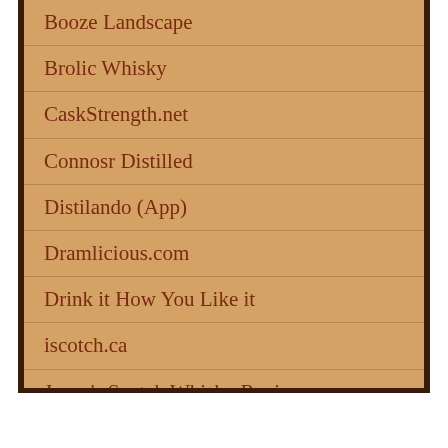Booze Landscape
Brolic Whisky
CaskStrength.net
Connosr Distilled
Distilando (App)
Dramlicious.com
Drink it How You Like it
iscotch.ca
Jason's Scotch Whisky Reviews
Jewmalt Whisky Reviews
K&L Spirits Journal
Malt Madness